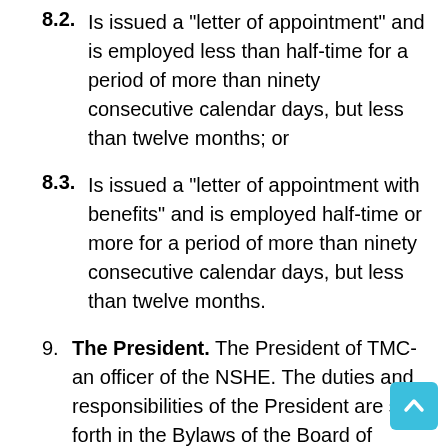8.2. Is issued a "letter of appointment" and is employed less than half-time for a period of more than ninety consecutive calendar days, but less than twelve months; or
8.3. Is issued a "letter of appointment with benefits" and is employed half-time or more for a period of more than ninety consecutive calendar days, but less than twelve months.
9. The President. The President of TMCC an officer of the NSHE. The duties and responsibilities of the President are set forth in the Bylaws of the Board of